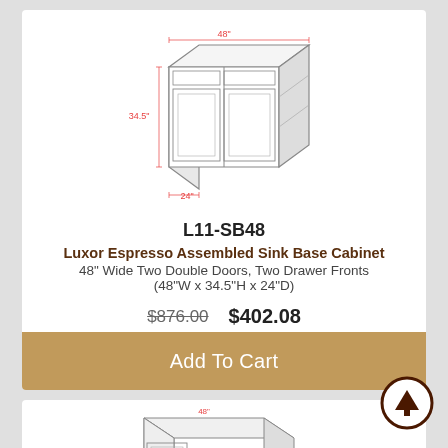[Figure (engineering-diagram): Isometric line drawing of a 48-inch sink base cabinet with two double doors and two drawer fronts, showing dimensions: 48 width (red), 34.5 height (red), 24 depth (red)]
L11-SB48
Luxor Espresso Assembled Sink Base Cabinet
48" Wide Two Double Doors, Two Drawer Fronts (48"W x 34.5"H x 24"D)
$876.00   $402.08
1
Add To Cart
[Figure (engineering-diagram): Isometric line drawing of a corner base cabinet with dimension annotations, partial view at bottom of page]